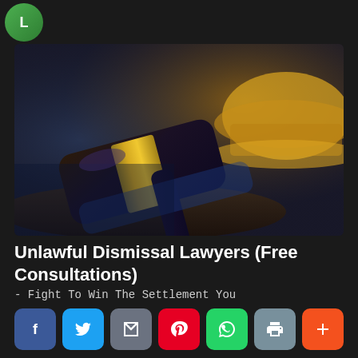[Figure (photo): A judge's gavel with gold band resting on a dark surface, with a blurred yellow construction hard hat visible in the background — representing unlawful dismissal legal services.]
Unlawful Dismissal Lawyers (Free Consultations)
- Fight To Win The Settlement You Deserve (Win or No Fee Options)
[Figure (infographic): Row of social sharing buttons: Facebook (blue), Twitter (cyan), Email (grey), Pinterest (red), WhatsApp (green), Print (grey-blue), More/Plus (orange-red)]